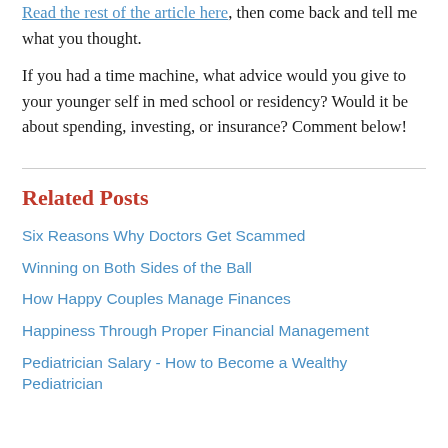Read the rest of the article here, then come back and tell me what you thought.
If you had a time machine, what advice would you give to your younger self in med school or residency? Would it be about spending, investing, or insurance? Comment below!
Related Posts
Six Reasons Why Doctors Get Scammed
Winning on Both Sides of the Ball
How Happy Couples Manage Finances
Happiness Through Proper Financial Management
Pediatrician Salary - How to Become a Wealthy Pediatrician